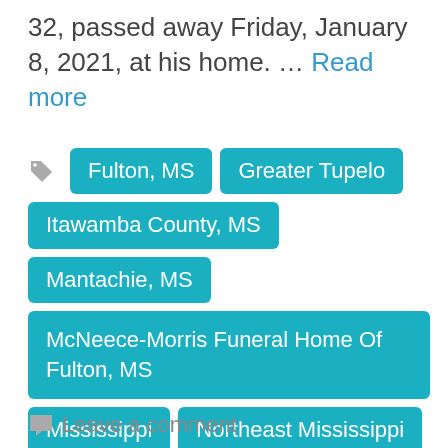32, passed away Friday, January 8, 2021, at his home. … Read more
Fulton, MS
Greater Tupelo
Itawamba County, MS
Mantachie, MS
McNeece-Morris Funeral Home Of Fulton, MS
Mississippi
Northeast Mississippi
Leave a comment